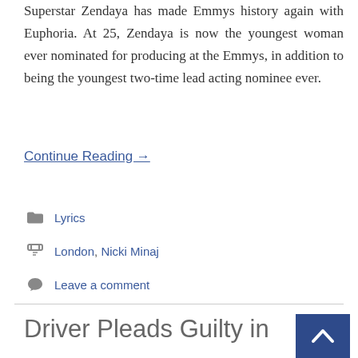Superstar Zendaya has made Emmys history again with Euphoria. At 25, Zendaya is now the youngest woman ever nominated for producing at the Emmys, in addition to being the youngest two-time lead acting nominee ever.
Continue Reading →
Lyrics
London, Nicki Minaj
Leave a comment
Driver Pleads Guilty in